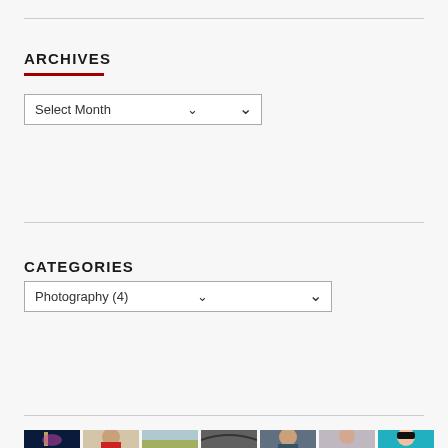ARCHIVES
Select Month
CATEGORIES
Photography (4)
[Figure (photo): A row of avatar/profile thumbnails showing various people and illustrated characters]